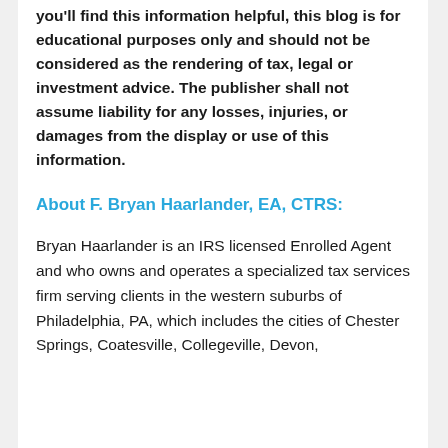you'll find this information helpful, this blog is for educational purposes only and should not be considered as the rendering of tax, legal or investment advice. The publisher shall not assume liability for any losses, injuries, or damages from the display or use of this information.
About F. Bryan Haarlander, EA, CTRS:
Bryan Haarlander is an IRS licensed Enrolled Agent and who owns and operates a specialized tax services firm serving clients in the western suburbs of Philadelphia, PA, which includes the cities of Chester Springs, Coatesville, Collegeville, Devon,